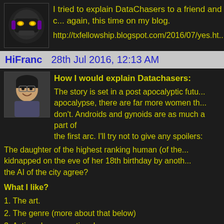I tried to explain DataChasers to a friend and c... again, this time on my blog.
http://txfellowship.blogspot.com/2016/07/yes.ht...
HiFranc   28th Jul 2016, 12:13 AM
How I would explain Datachasers:
The story is set in a post apocalyptic futu... apocalypse, there are far more women th... don't. Androids and gynoids are as much a part of... the first arc. I'll try not to give any spoilers:
The daughter of the highest ranking human (of the... kidnapped on the eve of her 18th birthday by anoth... the AI of the city agree?
What I like?
1. The art.
2. The genre (more about that below)
3. Actions have emotional consequences.
4. Characters feel three dimensional
5. Technology is well handled